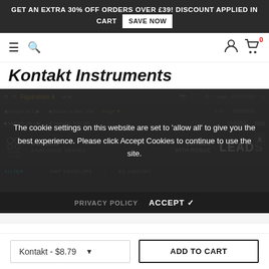GET AN EXTRA 30% OFF ORDERS OVER £39! DISCOUNT APPLIED IN CART  SAVE NOW
[Figure (screenshot): Navigation bar with hamburger menu, search icon, user icon, and cart icon with 0 badge]
Kontakt Instruments
[Figure (screenshot): Kontakt plugin interface screenshot showing Figuration 4 instrument by Biome Digital, Modern Analogue Series, Rhymes With Rogue, LEADS section, with FILTER, AMP ENVELOPE, EX AMOUNT tabs. A cookie consent overlay is present reading: The cookie settings on this website are set to 'allow all' to give you the best experience. Please click Accept Cookies to continue to use the site.]
The cookie settings on this website are set to 'allow all' to give you the best experience. Please click Accept Cookies to continue to use the site.
PRIVACY POLICY   ACCEPT ✓
Kontakt - $8.79   ADD TO CART